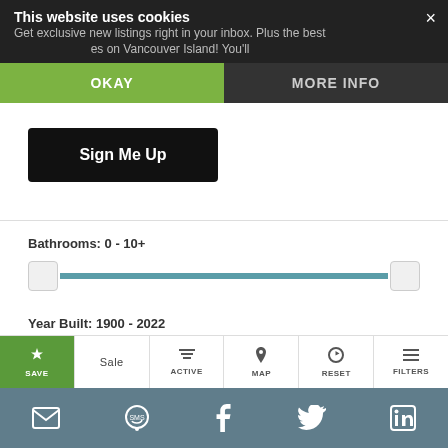This website uses cookies
Get exclusive new listings right in your inbox. Plus the best es on Vancouver Island! You'll
OKAY
MORE INFO
Sign Me Up
Bathrooms: 0 - 10+
Year Built: 1900 - 2022
Sq. Feet: 0 - 10,000+
SAVE
Sale
ACTIVE
MAP
RESET
FILTERS